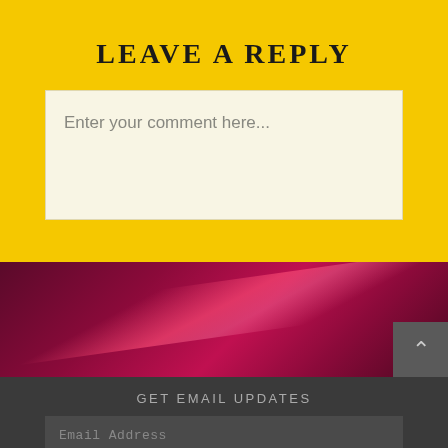LEAVE A REPLY
Enter your comment here...
[Figure (photo): Dark crimson background banner with a diagonal pink/magenta light streak across it, with a grey scroll-to-top button in the bottom right corner showing an upward chevron.]
GET EMAIL UPDATES
Email Address
SUBSCRIBE